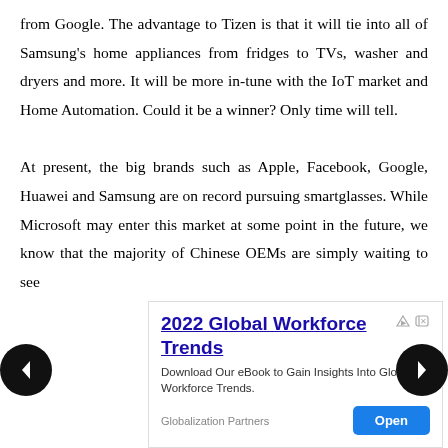from Google. The advantage to Tizen is that it will tie into all of Samsung's home appliances from fridges to TVs, washer and dryers and more. It will be more in-tune with the IoT market and Home Automation. Could it be a winner? Only time will tell.

At present, the big brands such as Apple, Facebook, Google, Huawei and Samsung are on record pursuing smartglasses. While Microsoft may enter this market at some point in the future, we know that the majority of Chinese OEMs are simply waiting to see
[Figure (other): Advertisement overlay: '2022 Global Workforce Trends' eBook promotion by Globalization Partners, with an 'Open' button and ad badge icons.]